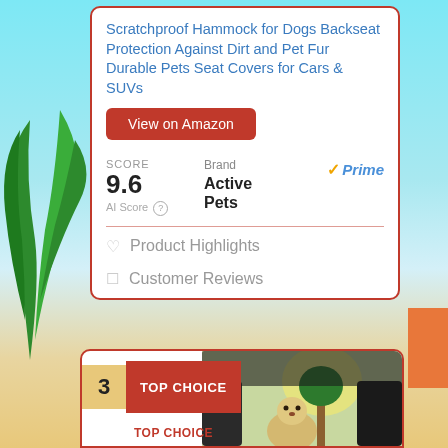Scratchproof Hammock for Dogs Backseat Protection Against Dirt and Pet Fur Durable Pets Seat Covers for Cars & SUVs
View on Amazon
SCORE
9.6
AI Score
Brand
Active Pets
Prime
♡ Product Highlights
□ Customer Reviews
3 TOP CHOICE